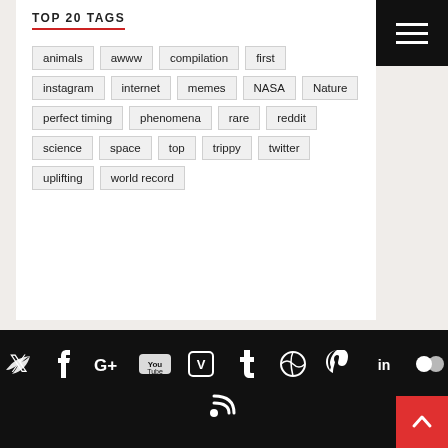TOP 20 TAGS
animals
awww
compilation
first
instagram
internet
memes
NASA
Nature
perfect timing
phenomena
rare
reddit
science
space
top
trippy
twitter
uplifting
world record
Social icons: Twitter, Facebook, Google+, YouTube, Vimeo, Tumblr, Dribbble, Pinterest, LinkedIn, Flickr, RSS